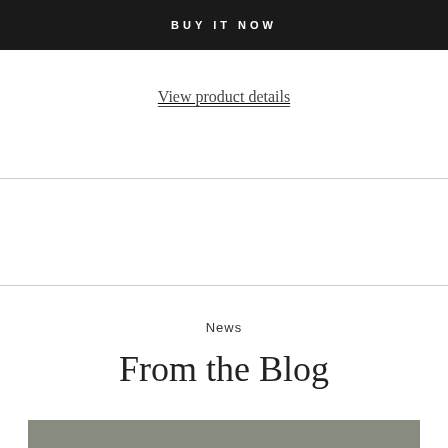BUY IT NOW
View product details
News
From the Blog
[Figure (other): Gray banner at the bottom of the page]